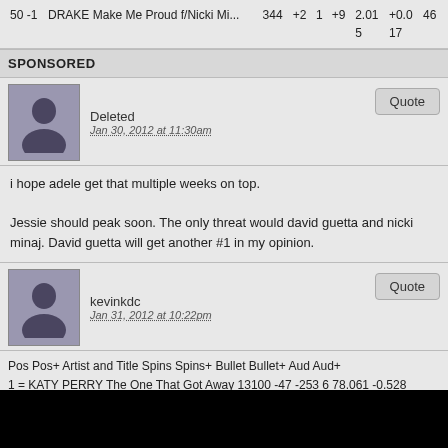| Pos | Pos+ | Artist and Title | Spins | Spins+ | Bullet | Bullet+ | Aud | Aud+ |  |
| --- | --- | --- | --- | --- | --- | --- | --- | --- | --- |
| 50 | -1 | DRAKE Make Me Proud f/Nicki Mi... | 344 | +2 | 1 | +9 | 2.015 | +0.017 | 46 |
SPONSORED
Deleted
Jan 30, 2012 at 11:30am
i hope adele get that multiple weeks on top.

Jessie should peak soon. The only threat would david guetta and nicki minaj. David guetta will get another #1 in my opinion.
kevinkdc
Jan 31, 2012 at 10:22pm
Pos Pos+ Artist and Title Spins Spins+ Bullet Bullet+ Aud Aud+
1 = KATY PERRY The One That Got Away 13100 -47 -253 6 78.061 -0.528
2 = FLO RIDA Good Feeling 12869 -21 -62 -70 84.169 -0.730
3 = RIHANNA We Found Love f/Calvin Harris 12378 -193 -732 -67 84.871 -1.246
4 = BRUNO MARS It Will Rain 12263 -245 -1217 -202 74.079 -1.429